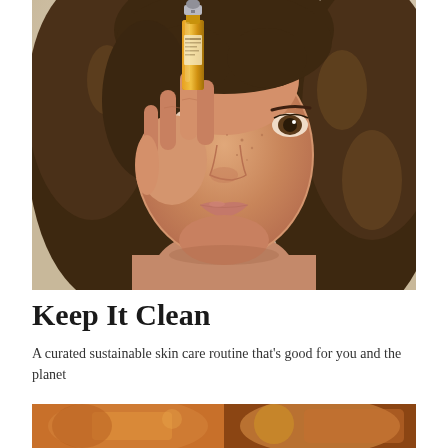[Figure (photo): A young woman with curly brown hair holding a small amber-colored dropper bottle (skincare serum) up near her eye, photographed against a light beige background. She has a natural makeup look with freckles.]
Keep It Clean
A curated sustainable skin care routine that’s good for you and the planet
[Figure (photo): Partial bottom strip showing cropped product or lifestyle images in warm orange and brown tones.]